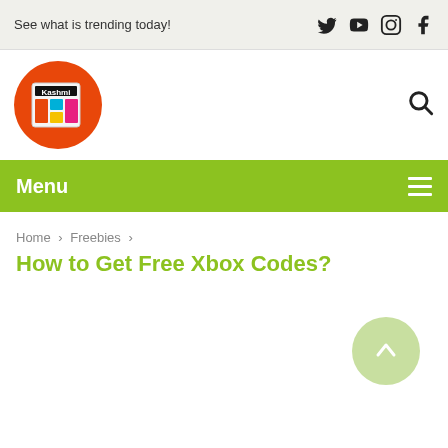See what is trending today!
[Figure (logo): Kashmi news website logo: orange circle with a newspaper graphic inside]
Menu
Home > Freebies >
How to Get Free Xbox Codes?